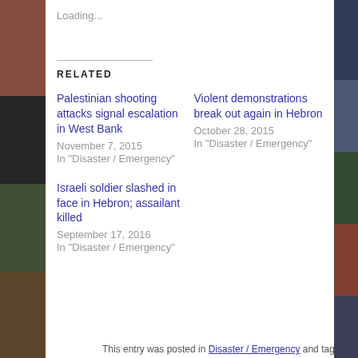Loading...
RELATED
Palestinian shooting attacks signal escalation in West Bank
November 7, 2015
In "Disaster / Emergency"
Violent demonstrations break out again in Hebron
October 28, 2015
In "Disaster / Emergency"
Israeli soldier slashed in face in Hebron; assailant killed
September 17, 2016
In "Disaster / Emergency"
This entry was posted in Disaster / Emergency and tagged...